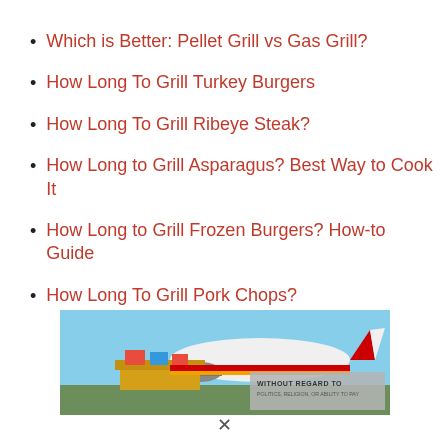Which is Better: Pellet Grill vs Gas Grill?
How Long To Grill Turkey Burgers
How Long To Grill Ribeye Steak?
How Long to Grill Asparagus? Best Way to Cook It
How Long to Grill Frozen Burgers? How-to Guide
How Long To Grill Pork Chops?
[Figure (photo): Advertisement banner showing cargo being loaded onto a Southwest Airlines airplane, with text 'WITHOUT REGARD TO POLITICS, RELIGION, OR ABILITY TO PAY']